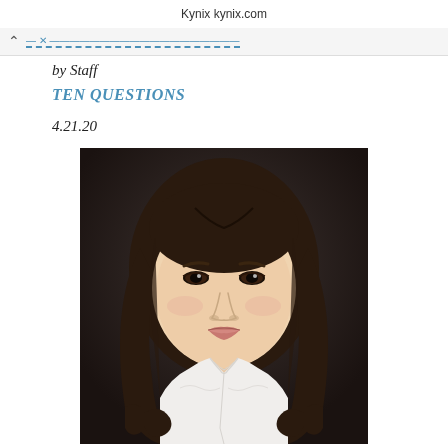Kynix kynix.com
by Staff
TEN QUESTIONS
4.21.20
[Figure (photo): Professional headshot of an Asian woman with long dark wavy hair, wearing a white blouse with ruffled collar, against a dark background]